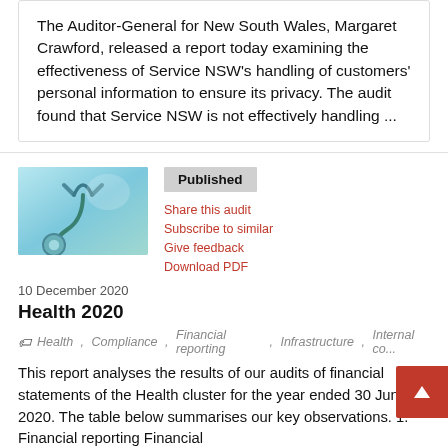The Auditor-General for New South Wales, Margaret Crawford, released a report today examining the effectiveness of Service NSW's handling of customers' personal information to ensure its privacy. The audit found that Service NSW is not effectively handling ...
[Figure (photo): Photo of a medical stethoscope on a light blue/teal background]
Published
Share this audit
Subscribe to similar
Give feedback
Download PDF
10 December 2020
Health 2020
Health , Compliance , Financial reporting , Infrastructure , Internal co...
This report analyses the results of our audits of financial statements of the Health cluster for the year ended 30 June 2020. The table below summarises our key observations. 1. Financial reporting Financial ...